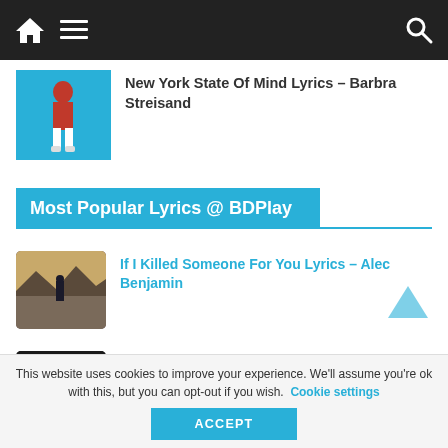Navigation bar with home, menu, and search icons
[Figure (screenshot): Thumbnail of Barbra Streisand album cover with blue background and figure in red outfit]
New York State Of Mind Lyrics – Barbra Streisand
Most Popular Lyrics @ BDPlay
[Figure (screenshot): Thumbnail for Alec Benjamin song - desert landscape with person standing]
If I Killed Someone For You Lyrics – Alec Benjamin
[Figure (screenshot): Thumbnail for Barbra Streisand Don't Rain On My Parade - dark scene with colorful figures]
Don't Rain On My Parade Lyrics – Barbra...
This website uses cookies to improve your experience. We'll assume you're ok with this, but you can opt-out if you wish.  Cookie settings
ACCEPT